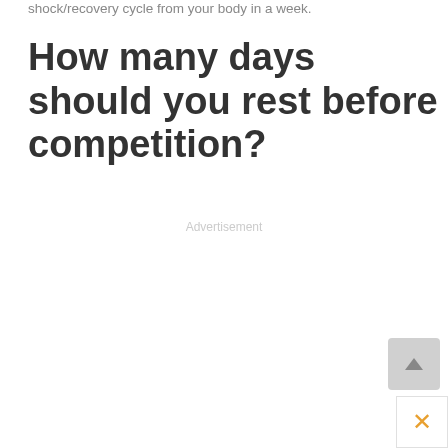shock/recovery cycle from your body in a week.
How many days should you rest before competition?
Advertisement